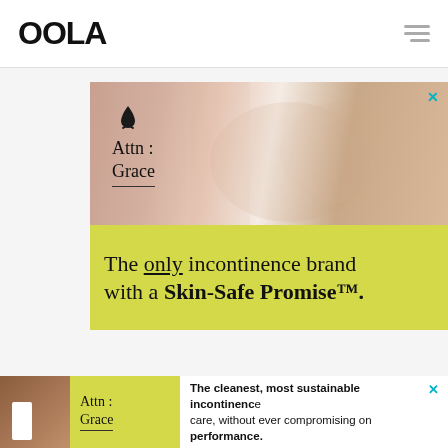OOLA
[Figure (photo): Advertisement for Attn: Grace incontinence brand showing older woman's hands crossed over chest wearing a bracelet, with yellow banner reading 'The only incontinence brand with a Skin-Safe Promise™.']
[Figure (photo): Sticky bottom banner advertisement for Attn: Grace with text: 'The cleanest, most sustainable incontinence care, without ever compromising on performance.']